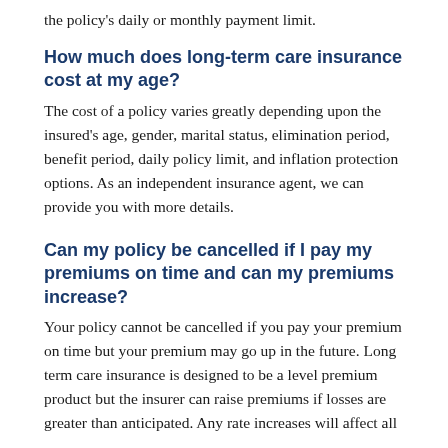the policy's daily or monthly payment limit.
How much does long-term care insurance cost at my age?
The cost of a policy varies greatly depending upon the insured's age, gender, marital status, elimination period, benefit period, daily policy limit, and inflation protection options. As an independent insurance agent, we can provide you with more details.
Can my policy be cancelled if I pay my premiums on time and can my premiums increase?
Your policy cannot be cancelled if you pay your premium on time but your premium may go up in the future. Long term care insurance is designed to be a level premium product but the insurer can raise premiums if losses are greater than anticipated. Any rate increases will affect all